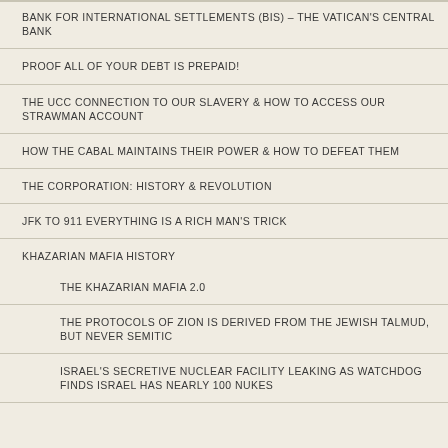BANK FOR INTERNATIONAL SETTLEMENTS (BIS) – THE VATICAN'S CENTRAL BANK
PROOF ALL OF YOUR DEBT IS PREPAID!
THE UCC CONNECTION TO OUR SLAVERY & HOW TO ACCESS OUR STRAWMAN ACCOUNT
HOW THE CABAL MAINTAINS THEIR POWER & HOW TO DEFEAT THEM
THE CORPORATION: HISTORY & REVOLUTION
JFK TO 911 EVERYTHING IS A RICH MAN'S TRICK
KHAZARIAN MAFIA HISTORY
THE KHAZARIAN MAFIA 2.0
THE PROTOCOLS OF ZION IS DERIVED FROM THE JEWISH TALMUD, BUT NEVER SEMITIC
ISRAEL'S SECRETIVE NUCLEAR FACILITY LEAKING AS WATCHDOG FINDS ISRAEL HAS NEARLY 100 NUKES